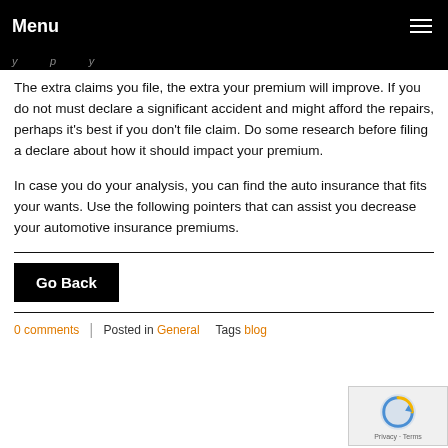Menu
The extra claims you file, the extra your premium will improve. If you do not must declare a significant accident and might afford the repairs, perhaps it's best if you don't file claim. Do some research before filing a declare about how it should impact your premium.
In case you do your analysis, you can find the auto insurance that fits your wants. Use the following pointers that can assist you decrease your automotive insurance premiums.
Go Back
0 comments  Posted in General  Tags blog